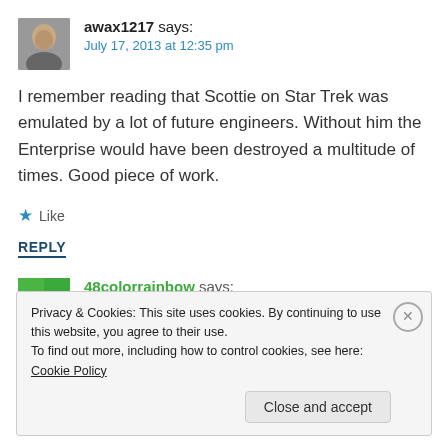awax1217 says: July 17, 2013 at 12:35 pm
I remember reading that Scottie on Star Trek was emulated by a lot of future engineers. Without him the Enterprise would have been destroyed a multitude of times. Good piece of work.
★ Like
REPLY
48colorrainbow says:
Privacy & Cookies: This site uses cookies. By continuing to use this website, you agree to their use.
To find out more, including how to control cookies, see here: Cookie Policy
Close and accept